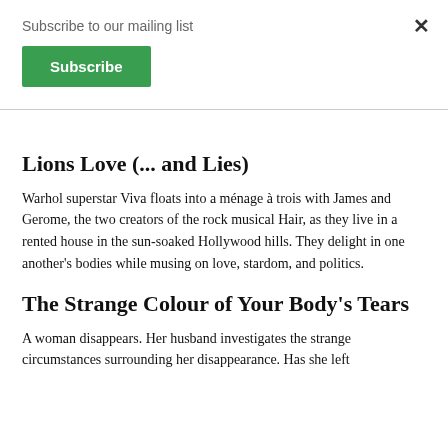Subscribe to our mailing list
Subscribe
×
Lions Love (... and Lies)
Warhol superstar Viva floats into a ménage à trois with James and Gerome, the two creators of the rock musical Hair, as they live in a rented house in the sun-soaked Hollywood hills. They delight in one another's bodies while musing on love, stardom, and politics.
The Strange Colour of Your Body's Tears
A woman disappears. Her husband investigates the strange circumstances surrounding her disappearance. Has she left